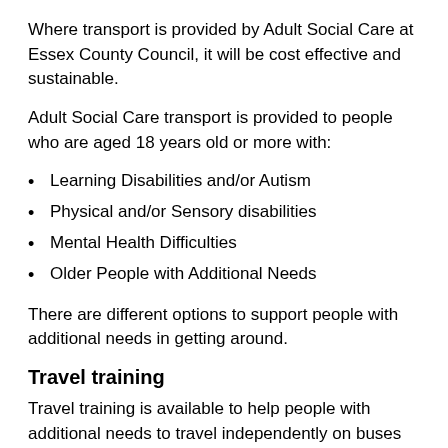Where transport is provided by Adult Social Care at Essex County Council, it will be cost effective and sustainable.
Adult Social Care transport is provided to people who are aged 18 years old or more with:
Learning Disabilities and/or Autism
Physical and/or Sensory disabilities
Mental Health Difficulties
Older People with Additional Needs
There are different options to support people with additional needs in getting around.
Travel training
Travel training is available to help people with additional needs to travel independently on buses and trains.